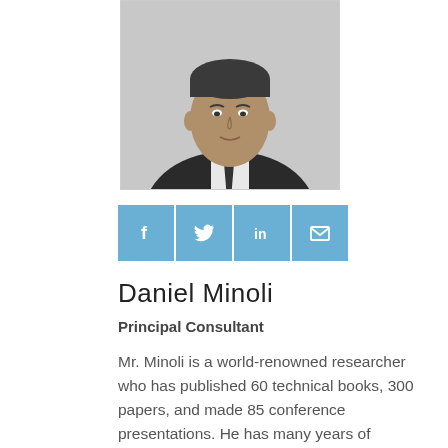[Figure (photo): Black and white headshot photo of Daniel Minoli in a suit and tie]
[Figure (infographic): Social media icon buttons: Facebook (f), Twitter (bird), LinkedIn (in), Email (envelope) in light blue square buttons]
Daniel Minoli
Principal Consultant
Mr. Minoli is a world-renowned researcher who has published 60 technical books, 300 papers, and made 85 conference presentations. He has many years of technical-hands-on and managerial experience in planning, designing, deploying, and operating secure IP/IPv6-, VoIP, telecom-, wireless-, satellite- and